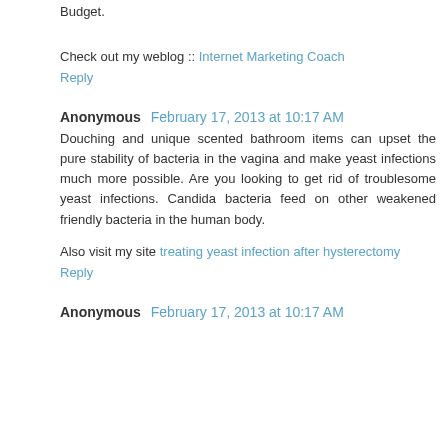Budget.
Check out my weblog :: Internet Marketing Coach
Reply
Anonymous  February 17, 2013 at 10:17 AM
Douching and unique scented bathroom items can upset the pure stability of bacteria in the vagina and make yeast infections much more possible. Are you looking to get rid of troublesome yeast infections. Candida bacteria feed on other weakened friendly bacteria in the human body.
Also visit my site treating yeast infection after hysterectomy
Reply
Anonymous  February 17, 2013 at 10:17 AM